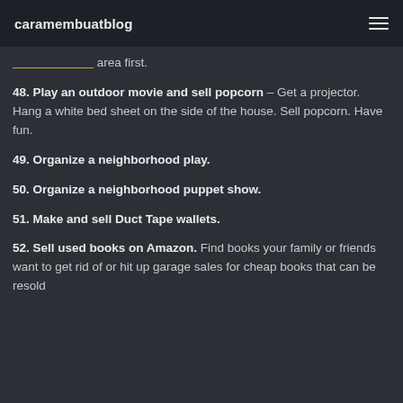caramembuatblog
area first.
48. Play an outdoor movie and sell popcorn – Get a projector. Hang a white bed sheet on the side of the house. Sell popcorn. Have fun.
49. Organize a neighborhood play.
50. Organize a neighborhood puppet show.
51. Make and sell Duct Tape wallets.
52. Sell used books on Amazon. Find books your family or friends want to get rid of or hit up garage sales for cheap books that can be resold